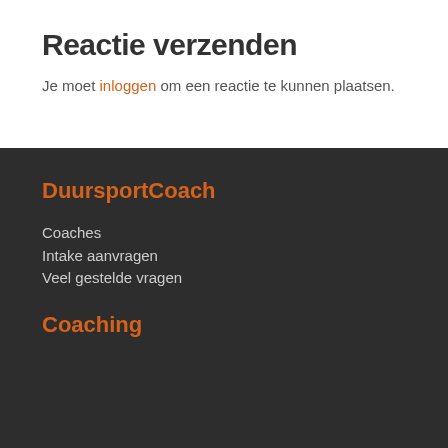Reactie verzenden
Je moet inloggen om een reactie te kunnen plaatsen.
DuursportCoach
Coaches
Intake aanvragen
Veel gestelde vragen
Coaching